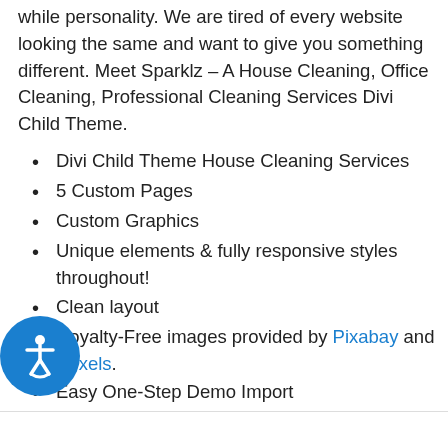while personality. We are tired of every website looking the same and want to give you something different. Meet Sparklz – A House Cleaning, Office Cleaning, Professional Cleaning Services Divi Child Theme.
Divi Child Theme House Cleaning Services
5 Custom Pages
Custom Graphics
Unique elements & fully responsive styles throughout!
Clean layout
Royalty-Free images provided by Pixabay and Pexels.
Easy One-Step Demo Import
The sparklz-dct.zip Divi Child Theme (Divi 3+ compatible)